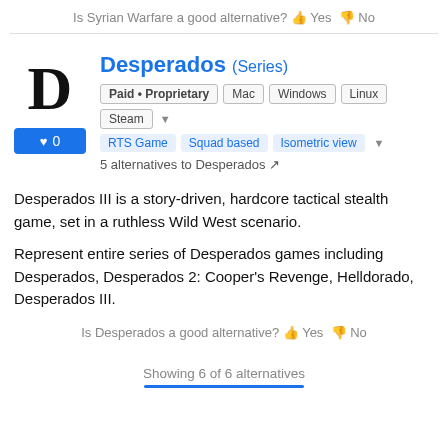Is Syrian Warfare a good alternative? 👍 Yes 👎 No
Desperados (Series)
Paid • Proprietary  Mac  Windows  Linux  Steam  RTS Game  Squad based  Isometric view
5 alternatives to Desperados
Desperados III is a story-driven, hardcore tactical stealth game, set in a ruthless Wild West scenario.
Represent entire series of Desperados games including Desperados, Desperados 2: Cooper's Revenge, Helldorado, Desperados III.
Is Desperados a good alternative? 👍 Yes 👎 No
Showing 6 of 6 alternatives